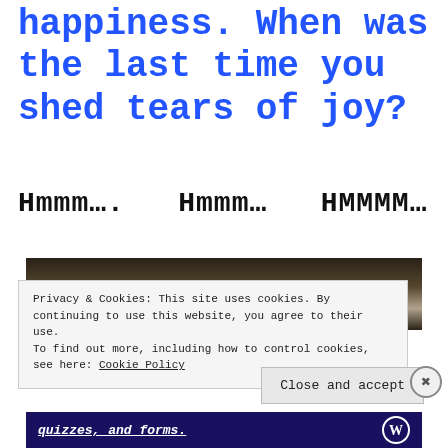happiness. When was the last time you shed tears of joy?
Hmmm…..  Hmmm…  HMMMM…
[Figure (screenshot): Partial screenshot of a dark room/scene visible behind a cookie consent banner]
Privacy & Cookies: This site uses cookies. By continuing to use this website, you agree to their use.
To find out more, including how to control cookies, see here: Cookie Policy
Close and accept
quizzes, and forms.